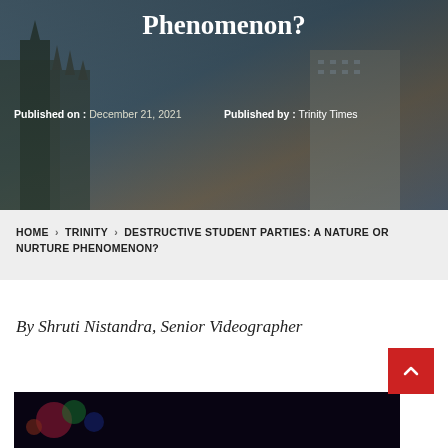Phenomenon?
Published on : December 21, 2021   Published by : Trinity Times
HOME › TRINITY › DESTRUCTIVE STUDENT PARTIES: A NATURE OR NURTURE PHENOMENON?
By Shruti Nistandra, Senior Videographer
[Figure (photo): Dark event/party photo with colorful lights]